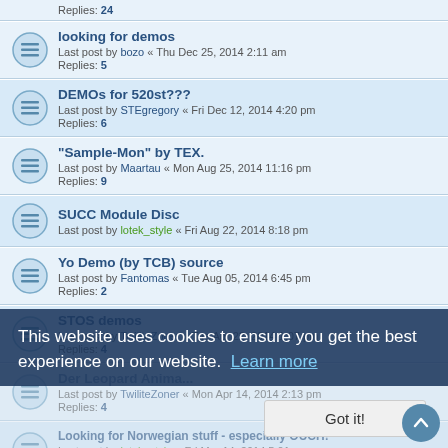Replies: 24
looking for demos — Last post by bozo « Thu Dec 25, 2014 2:11 am — Replies: 5
DEMOs for 520st??? — Last post by STEgregory « Fri Dec 12, 2014 4:20 pm — Replies: 6
"Sample-Mon" by TEX. — Last post by Maartau « Mon Aug 25, 2014 11:16 pm — Replies: 9
SUCC Module Disc — Last post by lotek_style « Fri Aug 22, 2014 8:18 pm
Yo Demo (by TCB) source — Last post by Fantomas « Tue Aug 05, 2014 6:45 pm — Replies: 2
STOS demos — Last post by TwiliteZoner « Tue Apr 22, 2014 1:07 pm — Replies: 4
Der Leopard Animal — Last post by TwiliteZoner « Mon Apr 14, 2014 2:13 pm — Replies: 4
Looking for Norwegian stuff - especially OUCH! — Last post by lotek_style « Fri Mar 14, 2014 5:01 pm — Replies: 19
"Oh Well, That's Life" demo — Last post by Marchocias « Mon Feb 24, 2014 4:48 pm
I need your diskmags :)
This website uses cookies to ensure you get the best experience on our website. Learn more
Got it!